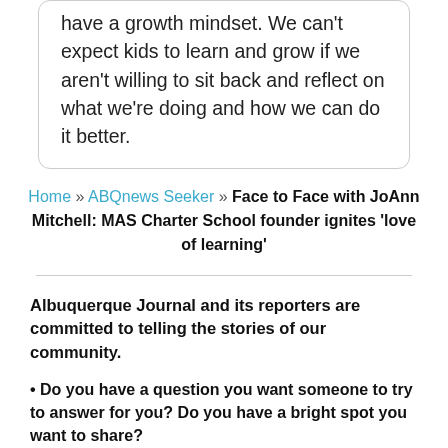have a growth mindset. We can't expect kids to learn and grow if we aren't willing to sit back and reflect on what we're doing and how we can do it better.
Home » ABQnews Seeker » Face to Face with JoAnn Mitchell: MAS Charter School founder ignites 'love of learning'
Albuquerque Journal and its reporters are committed to telling the stories of our community.
• Do you have a question you want someone to try to answer for you? Do you have a bright spot you want to share?
We want to hear from you. Please email yourstory@abqjournal.com